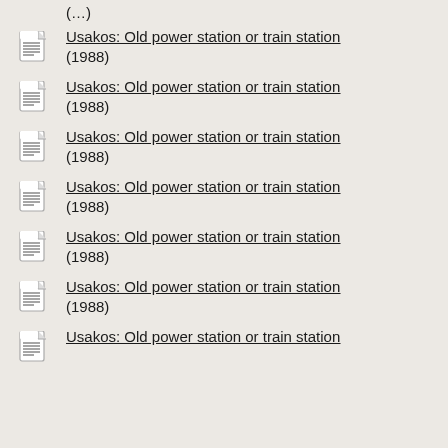Usakos: Old power station or train station (1988)
Usakos: Old power station or train station (1988)
Usakos: Old power station or train station (1988)
Usakos: Old power station or train station (1988)
Usakos: Old power station or train station (1988)
Usakos: Old power station or train station (1988)
Usakos: Old power station or train station